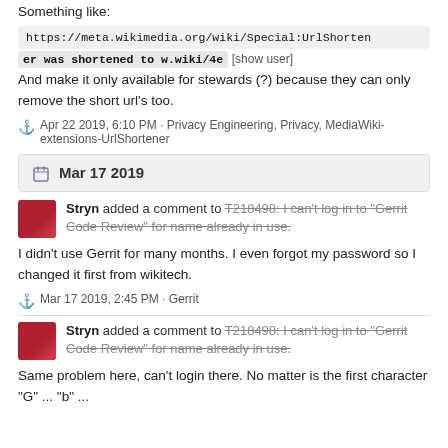Something like:
https://meta.wikimedia.org/wiki/Special:UrlShortener was shortened to w.wiki/4e [show user]
And make it only available for stewards (?) because they can only remove the short url's too.
Apr 22 2019, 6:10 PM · Privacy Engineering, Privacy, MediaWiki-extensions-UrlShortener
Mar 17 2019
Stryn added a comment to T218498: I can't log in to "Gerrit Code Review" for name already in use.
I didn't use Gerrit for many months. I even forgot my password so I changed it first from wikitech.
Mar 17 2019, 2:45 PM · Gerrit
Stryn added a comment to T218498: I can't log in to "Gerrit Code Review" for name already in use.
Same problem here, can't login there. No matter is the first character "G" ... "b" ...